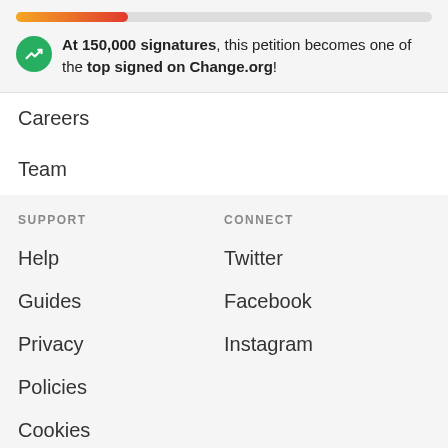[Figure (infographic): Progress bar (orange-to-red gradient, about 27% filled) above a banner with green circular icon (trending up arrow) and text: At 150,000 signatures, this petition becomes one of the top signed on Change.org!]
Careers
Team
SUPPORT
Help
Guides
Privacy
Policies
Cookies
CONNECT
Twitter
Facebook
Instagram
English (United States)